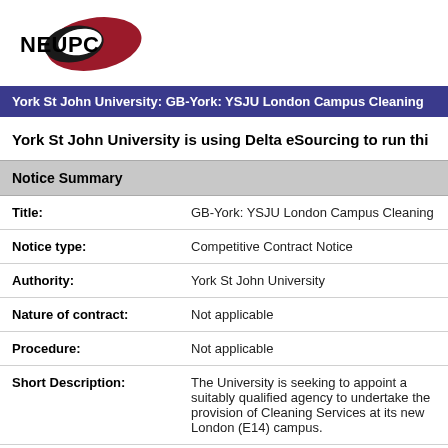[Figure (logo): NEUPC logo with dark red ellipse shape and bold black NEUPC text]
York St John University: GB-York: YSJU London Campus Cleaning
York St John University is using Delta eSourcing to run thi
| Notice Summary |
| --- |
| Title: | GB-York: YSJU London Campus Cleaning |
| Notice type: | Competitive Contract Notice |
| Authority: | York St John University |
| Nature of contract: | Not applicable |
| Procedure: | Not applicable |
| Short Description: | The University is seeking to appoint a suitably qualified agency to undertake the provision of Cleaning Services at its new London (E14) campus. |
| Published: | 12/04/2022 16:11 |